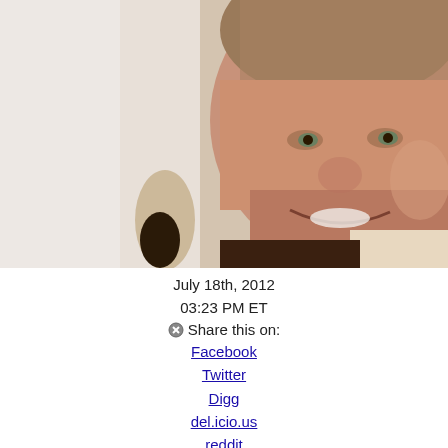[Figure (photo): Close-up photo of a middle-aged man with gray-brown hair, smiling, wearing a suit, against a blurred light background]
July 18th, 2012
03:23 PM ET
Share this on:
Facebook
Twitter
Digg
del.icio.us
reddit
MySpace
StumbleUpon